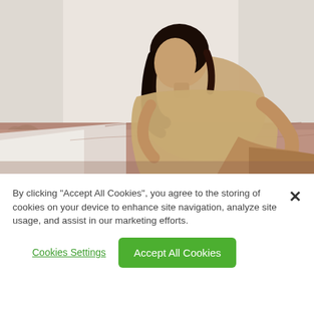[Figure (photo): A young woman with long dark hair wearing a tan/gold oversized top and shorts, sitting on a bed with dusty rose/mauve bedding, against a backdrop of sheer white curtains and soft natural light. A plant is visible in the lower left corner.]
By clicking “Accept All Cookies”, you agree to the storing of cookies on your device to enhance site navigation, analyze site usage, and assist in our marketing efforts.
Cookies Settings
Accept All Cookies